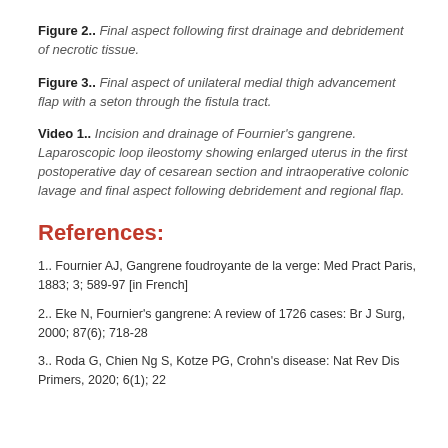Figure 2.. Final aspect following first drainage and debridement of necrotic tissue.
Figure 3.. Final aspect of unilateral medial thigh advancement flap with a seton through the fistula tract.
Video 1.. Incision and drainage of Fournier's gangrene. Laparoscopic loop ileostomy showing enlarged uterus in the first postoperative day of cesarean section and intraoperative colonic lavage and final aspect following debridement and regional flap.
References:
1.. Fournier AJ, Gangrene foudroyante de la verge: Med Pract Paris, 1883; 3; 589-97 [in French]
2.. Eke N, Fournier's gangrene: A review of 1726 cases: Br J Surg, 2000; 87(6); 718-28
3.. Roda G, Chien Ng S, Kotze PG, Crohn's disease: Nat Rev Dis Primers, 2020; 6(1); 22